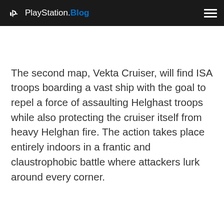PlayStation.Blog
The second map, Vekta Cruiser, will find ISA troops boarding a vast ship with the goal to repel a force of assaulting Helghast troops while also protecting the cruiser itself from heavy Helghan fire. The action takes place entirely indoors in a frantic and claustrophobic battle where attackers lurk around every corner.